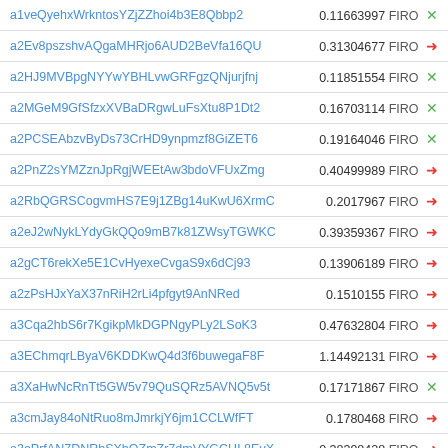| Address | Value | Currency | Icon |
| --- | --- | --- | --- |
| a1veQyehxWrkntosYZjZZhoi4b3E8Qbbp2 | 0.11663997 | FIRO | x |
| a2Ev8pszshvAQgaMHRjo6AUD2BeVfa16QU | 0.31304677 | FIRO | → |
| a2HJ9MVBpgNYYwYBHLvwGRFgzQNjurjfnj | 0.11851554 | FIRO | x |
| a2MGeM9GfSfzxXVBaDRgwLuFsXtu8P1Dt2 | 0.16703114 | FIRO | x |
| a2PCSEAbzvByDs73CrHD9ynpmzf8GiZET6 | 0.19164046 | FIRO | x |
| a2PnZ2sYMZznJpRgjWEEtAw3bdoVFUxZmg | 0.40499989 | FIRO | → |
| a2RbQGRSCogvmHS7E9j1ZBg14uKwU6XrmC | 0.2017967 | FIRO | → |
| a2eJ2wNykLYdyGkQQo9mB7k81ZWsyTGWKC | 0.39359367 | FIRO | → |
| a2gCT6rekXe5E1CvHyexeCvgaS9x6dCj93 | 0.13906189 | FIRO | → |
| a2zPsHJxYaX37nRiH2rLi4pfgyt9AnNRed | 0.1510155 | FIRO | → |
| a3Cqa2hbS6r7KgikpMkDGPNgyPLy2LSoK3 | 0.47632804 | FIRO | → |
| a3EChmqrLByaV6KDDKwQ4d3f6buwegaF8F | 1.14492131 | FIRO | → |
| a3XaHwNcRnTt5GW5v79QuSQRz5AVNQ5v5t | 0.17171867 | FIRO | x |
| a3cmJay84oNtRuo8mJmrkjY6jm1CCLWfFT | 0.1780468 | FIRO | → |
| a3ePrfAN7DNRbSXbQZmZr7dmVYGCHL8EvX | 0.38398428 | FIRO | → |